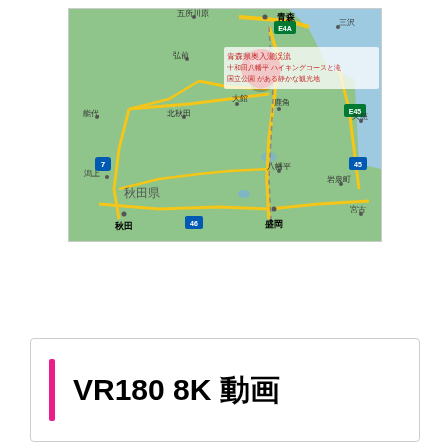[Figure (map): Google Maps view of the Aomori and Akita prefectures in northern Japan (Tohoku region), showing cities including 青森, 五所川原, 弘前, 三沢, 能代, 北秋田, 大館, 鹿角, 久慈, 秋田, 潟上, 八幡平, 盛岡, 宮古, 岩泉町 and highways E4A, E45, 45, 7, 46. A red location pin is placed in the Aomori Oirase/Towada area with Japanese text overlay about 青森県奥入瀬渓流・十和田八幡平国立公園.]
VR180 8K 動画